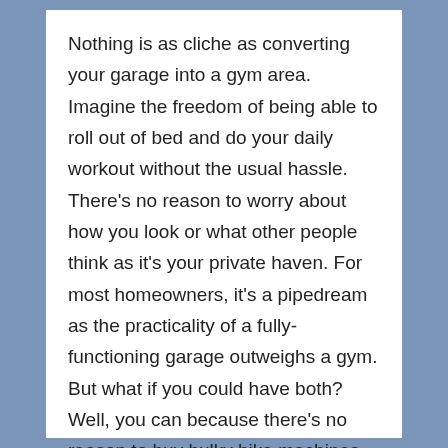Nothing is as cliche as converting your garage into a gym area. Imagine the freedom of being able to roll out of bed and do your daily workout without the usual hassle. There's no reason to worry about how you look or what other people think as it's your private haven. For most homeowners, it's a pipedream as the practicality of a fully-functioning garage outweighs a gym. But what if you could have both? Well, you can because there's no reason to buy bulky bike machines or treadmills. Instead, you can put mats on the floor and hang rings from the ceiling. As long as there is enough room to perform a home workout, you can advertise it as a gym area.